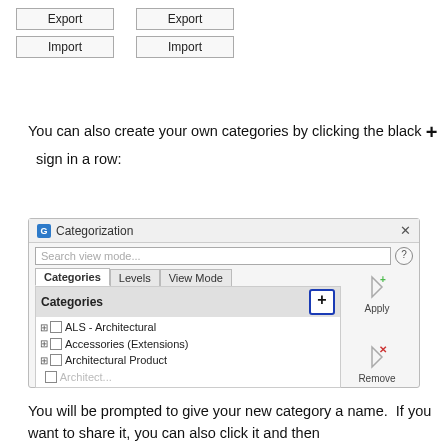[Figure (screenshot): Two rows of Export and Import buttons shown side by side at the top of the page]
You can also create your own categories by clicking the black + sign in a row:
[Figure (screenshot): Categorization dialog showing Categories, Levels, View Mode tabs. Categories panel with a highlighted blue + add button. List includes ALS - Architectural, Accessories (Extensions), Architectural Product. Right side shows Apply and Remove buttons with cursor icons.]
You will be prompted to give your new category a name. If you want to share it, you can also click it and then